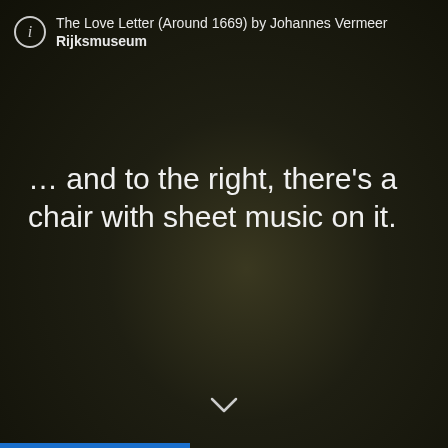The Love Letter (Around 1669) by Johannes Vermeer
Rijksmuseum
… and to the right, there's a chair with sheet music on it.